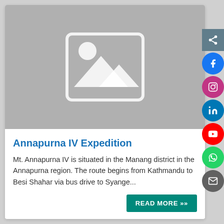[Figure (photo): Placeholder image with mountain/landscape icon on grey background]
Annapurna IV Expedition
Mt. Annapurna IV is situated in the Manang district in the Annapurna region. The route begins from Kathmandu to Besi Shahar via bus drive to Syange...
READ MORE »